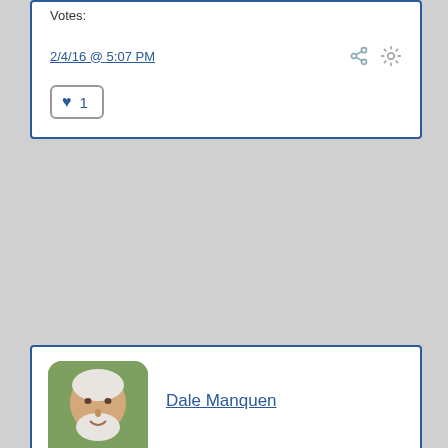Votes:
2/4/16 @ 5:07 PM
♥ 1
[Figure (photo): Profile photo of Dale Manquen, an older man with white hair and beard, outdoors]
Dale Manquen
MEMORIALIZED MEMBER
We will see how much output Elliot measures on both Bases when my meter arrives.  I expect it to arrive Saturday.  In the meantime, he could scan the room with a portable AM radio and check for any low-resistance bridges between the track Common and earth ground (which would short out